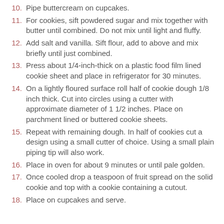10. Pipe buttercream on cupcakes.
11. For cookies, sift powdered sugar and mix together with butter until combined. Do not mix until light and fluffy.
12. Add salt and vanilla. Sift flour, add to above and mix briefly until just combined.
13. Press about 1/4-inch-thick on a plastic food film lined cookie sheet and place in refrigerator for 30 minutes.
14. On a lightly floured surface roll half of cookie dough 1/8 inch thick. Cut into circles using a cutter with approximate diameter of 1 1/2 inches. Place on parchment lined or buttered cookie sheets.
15. Repeat with remaining dough. In half of cookies cut a design using a small cutter of choice. Using a small plain piping tip will also work.
16. Place in oven for about 9 minutes or until pale golden.
17. Once cooled drop a teaspoon of fruit spread on the solid cookie and top with a cookie containing a cutout.
18. Place on cupcakes and serve.